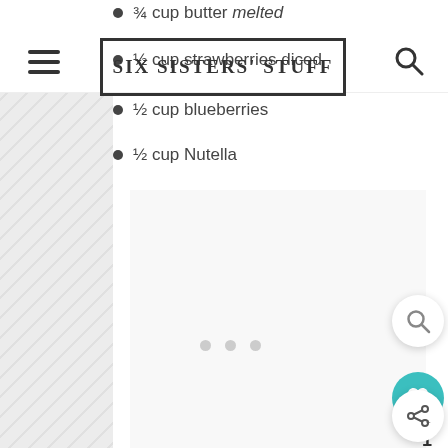SIX SISTERS STUFF (website header with logo and navigation)
¾ cup butter melted
½ cup strawberries diced
½ cup blueberries
½ cup Nutella
[Figure (other): White content card with loading dots (three gray circles), representing a loading/placeholder image area on a recipe website]
[Figure (other): Floating action buttons on right side: search icon button, heart/favorite button (teal), and share button. Count of 1 shown below heart button.]